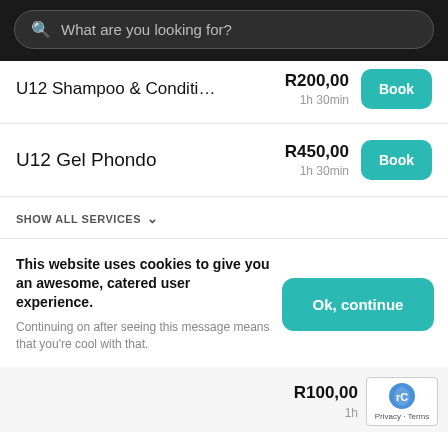What are you looking for?
U12 Shampoo & Condition — R200,00 — 1h 30min
U12 Gel Phondo — R450,00 — 1h 30min
SHOW ALL SERVICES
This website uses cookies to give you an awesome, catered user experience. Continuing on after seeing this message means that you're cool with that.
Ok, continue
R100,00 1h
Privacy · Terms